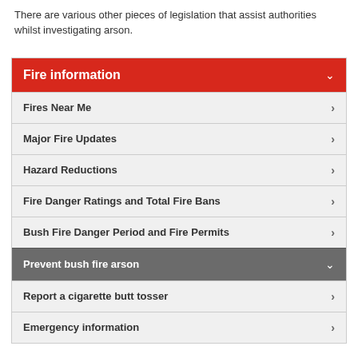There are various other pieces of legislation that assist authorities whilst investigating arson.
Fire information
Fires Near Me
Major Fire Updates
Hazard Reductions
Fire Danger Ratings and Total Fire Bans
Bush Fire Danger Period and Fire Permits
Prevent bush fire arson
Report a cigarette butt tosser
Emergency information